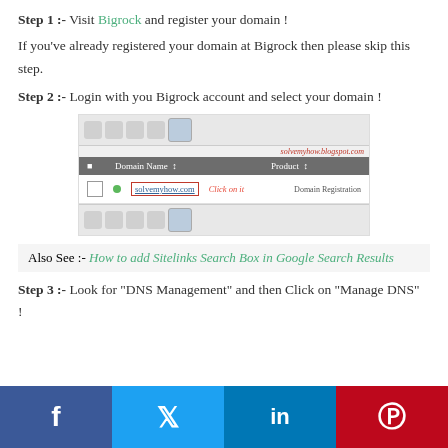Step 1 :- Visit Bigrock and register your domain !
If you've already registered your domain at Bigrock then please skip this step.
Step 2 :- Login with you Bigrock account and select your domain !
[Figure (screenshot): Bigrock domain management interface showing a table with Domain Name and Product columns. A domain 'solvemyhow.com' is listed with a green dot and a red-bordered link, with text 'Click on it' next to it. The product column shows 'Domain Registration'. Toolbar icons appear at top and bottom.]
Also See :- How to add Sitelinks Search Box in Google Search Results
Step 3 :- Look for "DNS Management" and then Click on "Manage DNS" !
Facebook | Twitter | LinkedIn | Pinterest